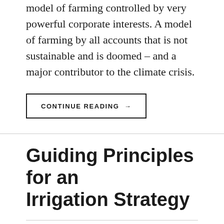model of farming controlled by very powerful corporate interests. A model of farming by all accounts that is not sustainable and is doomed – and a major contributor to the climate crisis.
CONTINUE READING →
Guiding Principles for an Irrigation Strategy
ON DECEMBER 16, 2021 / BY PEIFSN
LEAVE A COMMENT